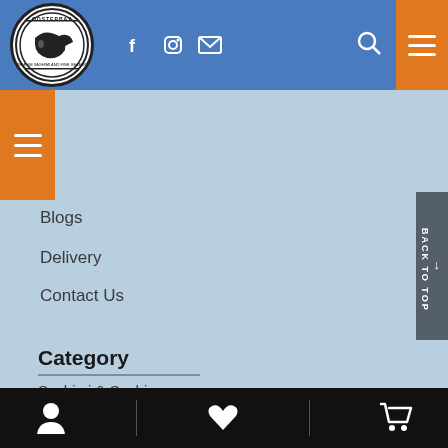[Figure (logo): Oosterbay circular logo with fish/sashimi illustration and text 'OOSTERBAY PREMIUM SASHIMI AND FINE SEAFOOD']
Oosterbay website header with social icons (Facebook, Instagram, Email), search icon, and hamburger menu
Blogs
Delivery
Contact Us
Category
Sashimi & Sushi
Ala Carte & Sides
Bottom navigation bar with user, heart, and cart icons